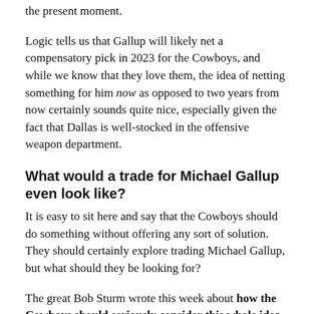the present moment.
Logic tells us that Gallup will likely net a compensatory pick in 2023 for the Cowboys, and while we know that they love them, the idea of netting something for him now as opposed to two years from now certainly sounds quite nice, especially given the fact that Dallas is well-stocked in the offensive weapon department.
What would a trade for Michael Gallup even look like?
It is easy to sit here and say that the Cowboys should do something without offering any sort of solution. They should certainly explore trading Michael Gallup, but what should they be looking for?
The great Bob Sturm wrote this week about how the Cowboys should seriously consider this whole idea if they are able to land Kyle Pitts in the NFL